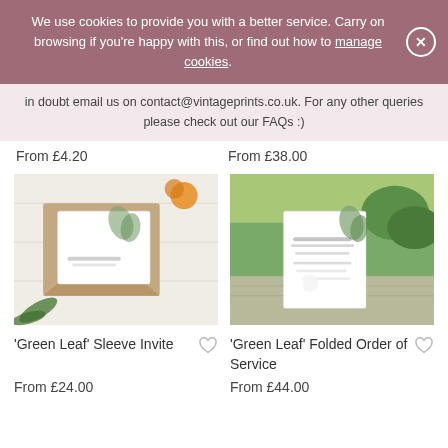We use cookies to provide you with a better service. Carry on browsing if you're happy with this, or find out how to manage cookies.
in doubt email us on contact@vintageprints.co.uk. For any other queries please check out our FAQs :)
From £4.20
From £38.00
[Figure (photo): Green Leaf Sleeve Invite product photo showing kraft paper sleeve with white card, green leaf design, and yellow flowers]
[Figure (photo): Green Leaf Folded Order of Service product photo showing white folded card with green leaf design on outdoor table with white flowers]
'Green Leaf' Sleeve Invite
'Green Leaf' Folded Order of Service
From £24.00
From £44.00